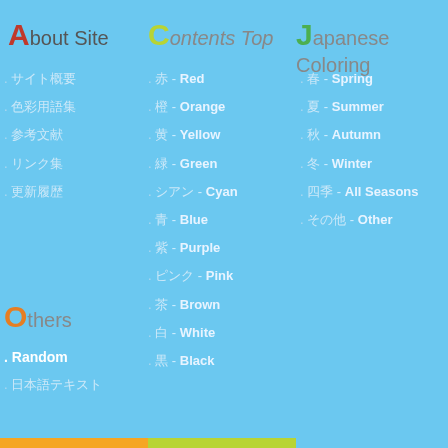About Site
Contents Top
Japanese Coloring
. 日本語テキスト
. 日本語テキスト
. 日本語テキスト
. 日本語テキスト
. 日本語テキスト
. 赤 - Red
. 橙 - Orange
. 黄 - Yellow
. 緑 - Green
. シアン - Cyan
. 青 - Blue
. 紫 - Purple
. ピンク - Pink
. 茶 - Brown
. 白 - White
. 黒 - Black
. 春 - Spring
. 夏 - Summer
. 秋 - Autumn
. 冬 - Winter
. 四季 - All Seasons
. その他 - Other
Others
. Random
. 日本語テキスト